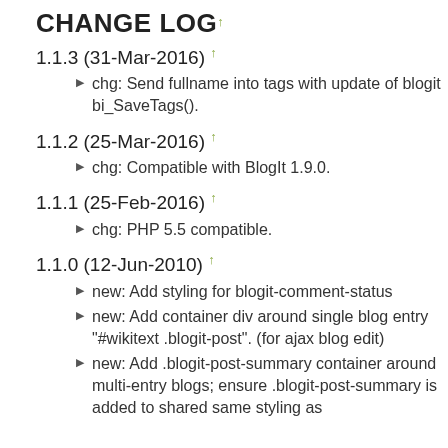CHANGE LOG
1.1.3 (31-Mar-2016)
chg: Send fullname into tags with update of blogit bi_SaveTags().
1.1.2 (25-Mar-2016)
chg: Compatible with BlogIt 1.9.0.
1.1.1 (25-Feb-2016)
chg: PHP 5.5 compatible.
1.1.0 (12-Jun-2010)
new: Add styling for blogit-comment-status
new: Add container div around single blog entry "#wikitext .blogit-post". (for ajax blog edit)
new: Add .blogit-post-summary container around multi-entry blogs; ensure .blogit-post-summary is added to shared same styling as